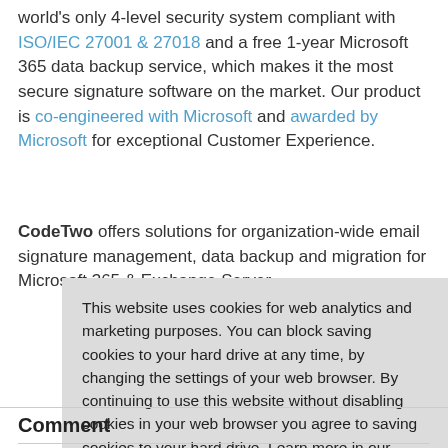world's only 4-level security system compliant with ISO/IEC 27001 & 27018 and a free 1-year Microsoft 365 data backup service, which makes it the most secure signature software on the market. Our product is co-engineered with Microsoft and awarded by Microsoft for exceptional Customer Experience.
CodeTwo offers solutions for organization-wide email signature management, data backup and migration for Microsoft 365 & Exchange Server
This website uses cookies for web analytics and marketing purposes. You can block saving cookies to your hard drive at any time, by changing the settings of your web browser. By continuing to use this website without disabling cookies in your web browser you agree to saving cookies to your hard drive. Learn more in our Privacy Policy.
Comment